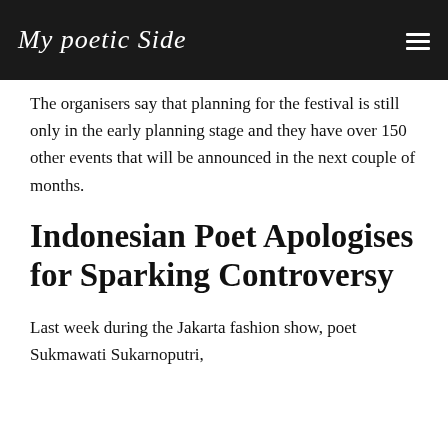My poetic Side
The organisers say that planning for the festival is still only in the early planning stage and they have over 150 other events that will be announced in the next couple of months.
Indonesian Poet Apologises for Sparking Controversy
Last week during the Jakarta fashion show, poet Sukmawati Sukarnoputri,